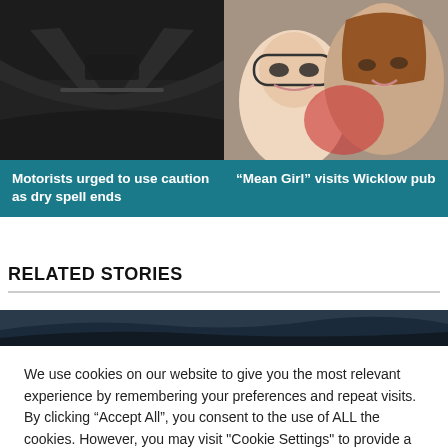[Figure (photo): Dark interior of a car dashboard viewed through windshield on a rainy road]
[Figure (photo): Two children and a woman with red hair smiling at camera]
Motorists urged to use caution as dry spell ends
“Mean Girl” visits Wicklow pub
RELATED STORIES
[Figure (photo): Landscape image partially visible, dark hills and sky]
We use cookies on our website to give you the most relevant experience by remembering your preferences and repeat visits. By clicking “Accept All”, you consent to the use of ALL the cookies. However, you may visit "Cookie Settings" to provide a controlled consent.
Cookie Settings
Accept All